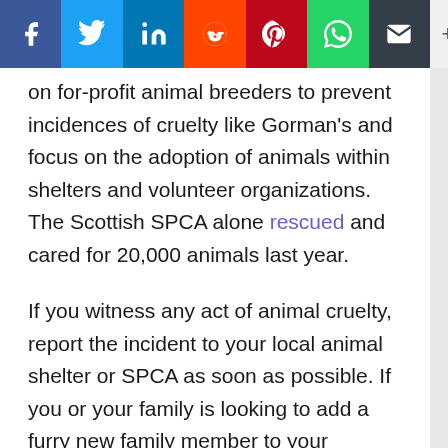[Figure (infographic): Social media share bar with icons for Facebook, Twitter, LinkedIn, Reddit, Pinterest, WhatsApp, Email, and a plus button]
on for-profit animal breeders to prevent incidences of cruelty like Gorman's and focus on the adoption of animals within shelters and volunteer organizations. The Scottish SPCA alone rescued and cared for 20,000 animals last year.
If you witness any act of animal cruelty, report the incident to your local animal shelter or SPCA as soon as possible. If you or your family is looking to add a furry new family member to your household, be sure to adopt from a reliable organization instead of buying from a breeder. You could very well be saving